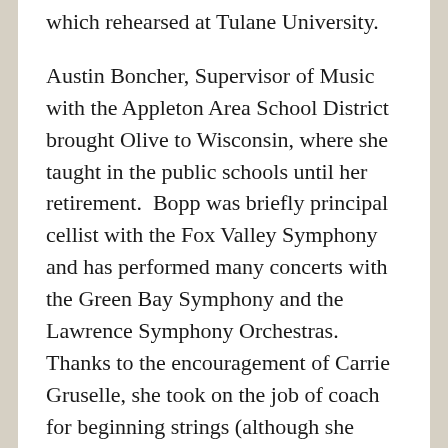which rehearsed at Tulane University.
Austin Boncher, Supervisor of Music with the Appleton Area School District brought Olive to Wisconsin, where she taught in the public schools until her retirement.  Bopp was briefly principal cellist with the Fox Valley Symphony and has performed many concerts with the Green Bay Symphony and the Lawrence Symphony Orchestras.  Thanks to the encouragement of Carrie Gruselle, she took on the job of coach for beginning strings (although she prefers being called ‘teacher’) with the Lawrence University New Horizons Orchestra since almost its beginning.
She currently teaches violin, viola, cello, bass